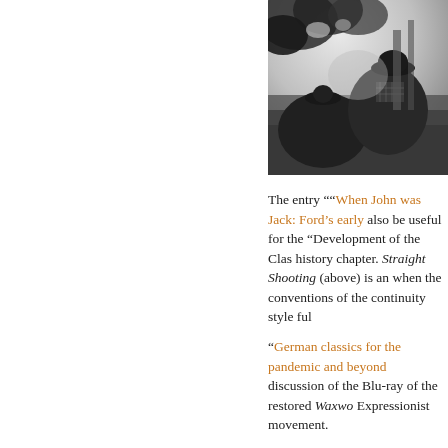[Figure (photo): Black and white still from Straight Shooting film showing two figures on horseback under trees]
The entry "“When John was Jack: Ford’s early also be useful for the “Development of the Clas history chapter. Straight Shooting (above) is an when the conventions of the continuity style ful
“German classics for the pandemic and beyond discussion of the Blu-ray of the restored Waxwo Expressionist movement.
At the end of each year, I post our only ten-best was 1930’s turn, with “The ten best films of … less known but worthwhile films. For 1930 the